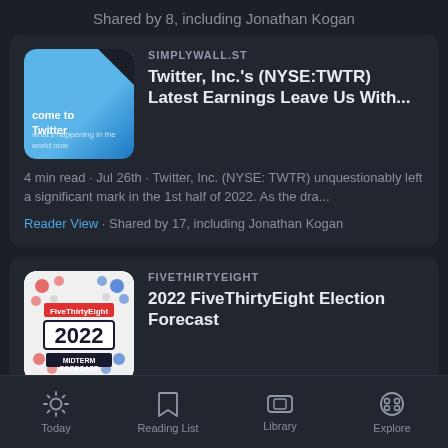Shared by 8, including Jonathan Kogan
[Figure (screenshot): SimplyWall.st article card with blue thumbnail showing 'come to Twitter' text, source label SIMPLYWALL.ST, title 'Twitter, Inc.'s (NYSE:TWTR) Latest Earnings Leave Us With...', meta '4 min read · Jul 26th · Twitter, Inc. (NYSE: TWTR) unquestionably left a significant mark in the 1st half of 2022. As the dra...', Reader View link, shared by 17 including Jonathan Kogan]
[Figure (screenshot): FiveThirtyEight article card with 2022 Midterm Forecast thumbnail, source label FIVETHIRTYEIGHT, title '2022 FiveThirtyEight Election Forecast', meta '1 min read · Jun 30th · Latest forecasts and polls for the 2022 midterm elections from ABC News's FiveThirtyEight', shared by text partially visible]
Today  Reading List  Library  Explore